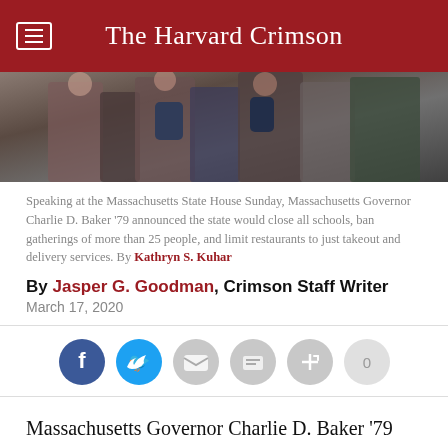The Harvard Crimson
[Figure (photo): Outdoor crowd scene with people wearing backpacks, photographed at street level]
Speaking at the Massachusetts State House Sunday, Massachusetts Governor Charlie D. Baker '79 announced the state would close all schools, ban gatherings of more than 25 people, and limit restaurants to just takeout and delivery services. By Kathryn S. Kuhar
By Jasper G. Goodman, Crimson Staff Writer
March 17, 2020
[Figure (infographic): Social sharing buttons: Facebook, Twitter, Email, Share, Link, and a count showing 0]
Massachusetts Governor Charlie D. Baker ’79 ordered all restaurants and bars to close on-premise consumption beginning Tuesday, marking one of the most drastic